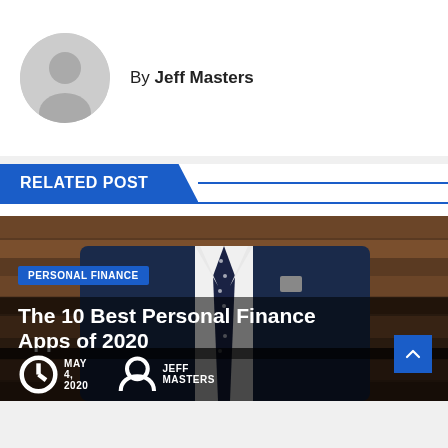By Jeff Masters
RELATED POST
[Figure (photo): Man in navy blue suit with polka dot tie against a wooden background]
PERSONAL FINANCE
The 10 Best Personal Finance Apps of 2020
MAY 4, 2020   JEFF MASTERS